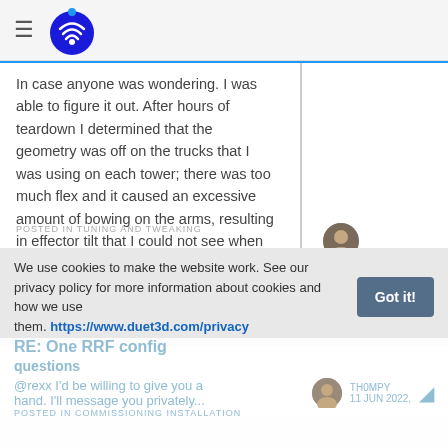Navigation header with hamburger menu and Duet3D logo
In case anyone was wondering. I was able to figure it out. After hours of teardown I determined that the geometry was off on the trucks that I was using on each tower; there was too much flex and it caused an excessive amount of bowing on the arms, resulting in effector tilt that I could not see when it wasn't moving. I did not want to go back to the SeeMeCNC trucks so I finally
TH0MPY
3 AUG 2021, 16:21
POSTED IN TUNING AND TWEAKING
We use cookies to make the website work. See our privacy policy for more information about cookies and how we use them. https://www.duet3d.com/privacy
RE: One RRF config questions
@rexx I'd be willing to give you a hand. I'll message you privately...
TH0MPY
11 JUN 2022,